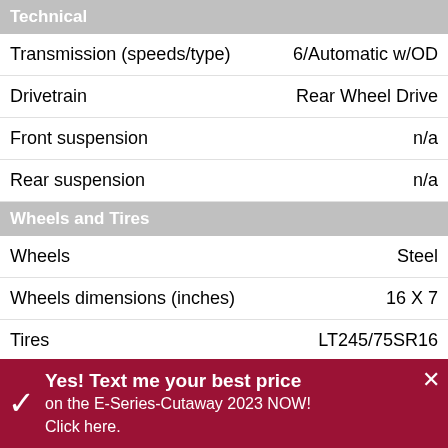Technical
| Specification | Value |
| --- | --- |
| Transmission (speeds/type) | 6/Automatic w/OD |
| Drivetrain | Rear Wheel Drive |
| Front suspension | n/a |
| Rear suspension | n/a |
Wheels and Tires
| Specification | Value |
| --- | --- |
| Wheels | Steel |
| Wheels dimensions (inches) | 16 X 7 |
| Tires | LT245/75SR16 |
Security
| Specification | Value |
| --- | --- |
| ABS | Std |
| Brake assist system | n/a |
| Front airbags | Std |
| Side airbags | n/a |
| Power windows | Opt |
Yes! Text me your best price on the E-Series-Cutaway 2023 NOW! Click here.